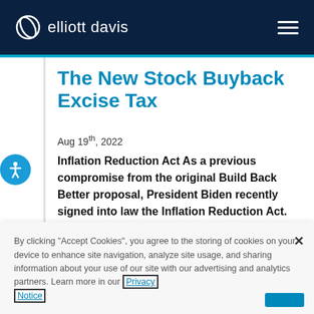elliott davis
The New Stock Buyback Excise Tax
Aug 19th, 2022
Inflation Reduction Act As a previous compromise from the original Build Back Better proposal, President Biden recently signed into law the Inflation Reduction Act. This...
By clicking "Accept Cookies", you agree to the storing of cookies on your device to enhance site navigation, analyze site usage, and sharing information about your use of our site with our advertising and analytics partners. Learn more in our Privacy Notice